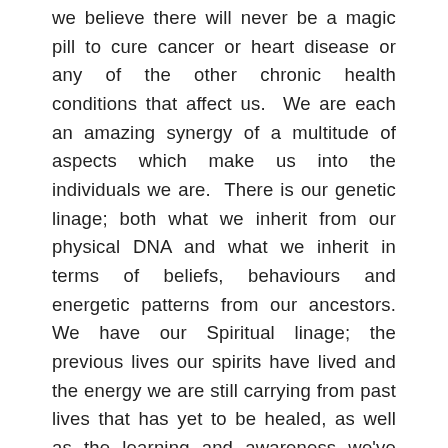we believe there will never be a magic pill to cure cancer or heart disease or any of the other chronic health conditions that affect us. We are each an amazing synergy of a multitude of aspects which make us into the individuals we are. There is our genetic linage; both what we inherit from our physical DNA and what we inherit in terms of beliefs, behaviours and energetic patterns from our ancestors. We have our Spiritual linage; the previous lives our spirits have lived and the energy we are still carrying from past lives that has yet to be healed, as well as the learning and awareness we've developed along the way. The spiritual and genetic linage then